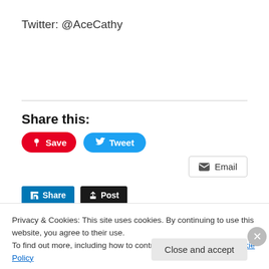Twitter: @AceCathy
Share this:
[Figure (screenshot): Social sharing buttons: Pinterest Save, Twitter Tweet, Email, LinkedIn Share, Tumblr Post]
Privacy & Cookies: This site uses cookies. By continuing to use this website, you agree to their use.
To find out more, including how to control cookies, see here: Cookie Policy
Close and accept